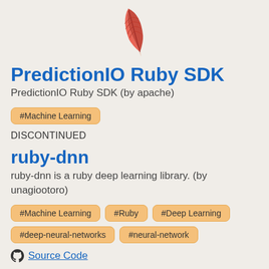[Figure (illustration): Red Apache feather logo at top center]
PredictionIO Ruby SDK
PredictionIO Ruby SDK (by apache)
#Machine Learning
DISCONTINUED
ruby-dnn
ruby-dnn is a ruby deep learning library. (by unagiootoro)
#Machine Learning
#Ruby
#Deep Learning
#deep-neural-networks
#neural-network
Source Code